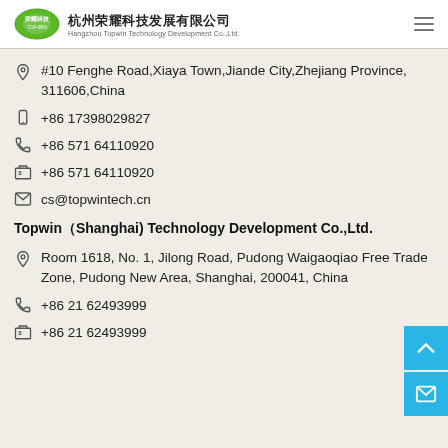杭州荣耀科技发展有限公司 Hangzhou Topwin Technology Development Co.,Ltd.
#10 Fenghe Road,Xiaya Town,Jiande City,Zhejiang Province, 311606,China
+86 17398029827
+86 571 64110920
+86 571 64110920
cs@topwintech.cn
Topwin（Shanghai) Technology Development Co.,Ltd.
Room 1618, No. 1, Jilong Road, Pudong Waigaoqiao Free Trade Zone, Pudong New Area, Shanghai, 200041, China
+86 21 62493999
+86 21 62493999